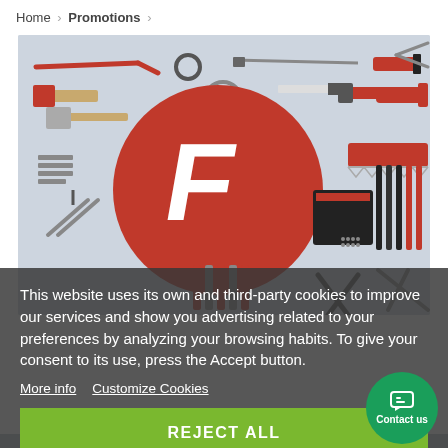Home > Promotions >
[Figure (photo): A banner image showing various hand tools (hammers, pliers, screwdrivers, scissors, wrenches, saws, etc.) arranged on a light gray background, with a large red circular logo featuring a stylized white 'F' in the center.]
This website uses its own and third-party cookies to improve our services and show you advertising related to your preferences by analyzing your browsing habits. To give your consent to its use, press the Accept button.
More info   Customize Cookies
REJECT ALL
ACCEPT